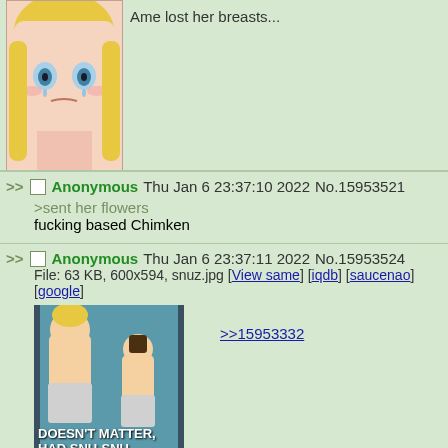[Figure (illustration): Partial top of a post showing an anime girl illustration (blonde, blue eyes, sad expression) with text 'Ame lost her breasts...' partially visible]
>> Anonymous Thu Jan 6 23:37:10 2022 No.15953521
>sent her flowers
fucking based Chimken
>> Anonymous Thu Jan 6 23:37:11 2022 No.15953524
File: 63 KB, 600x594, snuz.jpg [View same] [iqdb] [saucenao] [google]
>>15953332
DOESN'T MATTER, HAD SNU-SNU
>> Anonymous Thu Jan 6 23:37:12 2022 No.15953525
TIME TO MUTE THE STREAM
>> Anonymous Thu Jan 6 23:37:13 2022 No.15953527 (partial)